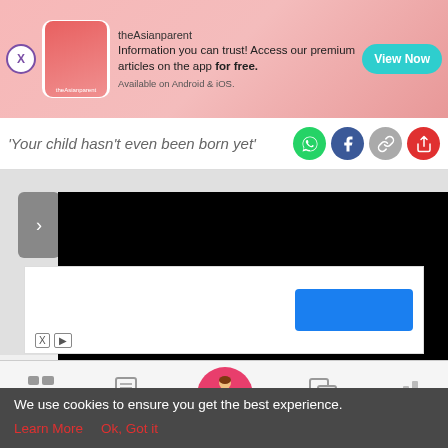[Figure (screenshot): theAsianparent app advertisement banner with pink gradient background, logo, text and View Now button]
'Your child hasn't even been born yet'
[Figure (screenshot): Video player area with black video frame and navigation arrow, on gray background]
[Figure (screenshot): Advertisement strip with blue button and X/play icons]
[Figure (screenshot): Bottom navigation bar with Tools, Articles, Home (pregnant woman icon), Feed, Poll icons]
We use cookies to ensure you get the best experience.
Learn More
Ok, Got it